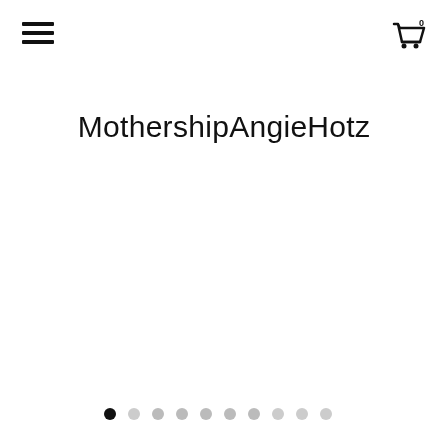MothershipAngieHotz
[Figure (screenshot): Hamburger menu icon (three horizontal lines) in top-left corner]
[Figure (screenshot): Shopping cart icon with badge showing 0 in top-right corner]
MothershipAngieHotz
[Figure (infographic): Carousel pagination dots: 10 dots total, first dot is filled black (active), remaining 9 are light grey]